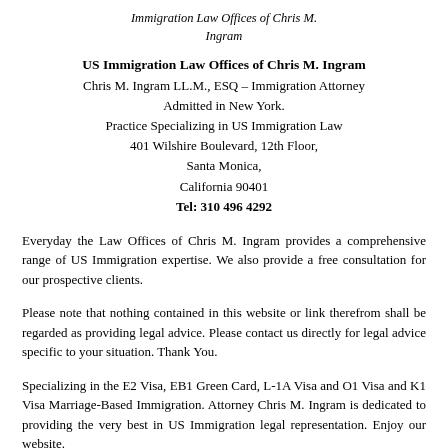Immigration Law Offices of Chris M. Ingram
US Immigration Law Offices of Chris M. Ingram
Chris M. Ingram LL.M., ESQ – Immigration Attorney
Admitted in New York.
Practice Specializing in US Immigration Law
401 Wilshire Boulevard, 12th Floor,
Santa Monica,
California 90401
Tel: 310 496 4292
Everyday the Law Offices of Chris M. Ingram provides a comprehensive range of US Immigration expertise. We also provide a free consultation for our prospective clients.
Please note that nothing contained in this website or link therefrom shall be regarded as providing legal advice. Please contact us directly for legal advice specific to your situation. Thank You.
Specializing in the E2 Visa, EB1 Green Card, L-1A Visa and O1 Visa and K1 Visa Marriage-Based Immigration. Attorney Chris M. Ingram is dedicated to providing the very best in US Immigration legal representation. Enjoy our website.
Important Notice: Please note that all videos created by the Law Offices of Chris